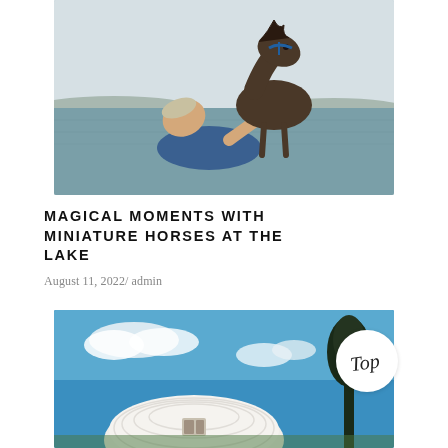[Figure (photo): A person lying back in calm lake water, hugging and nuzzling a small dark miniature horse with a blue halter. Overcast sky and flat water visible in background.]
MAGICAL MOMENTS WITH MINIATURE HORSES AT THE LAKE
August 11, 2022/ admin
[Figure (photo): Outdoor scene with bright blue sky, scattered white clouds, a large white circular or dome-like structure, and a tall dark tree on the right side.]